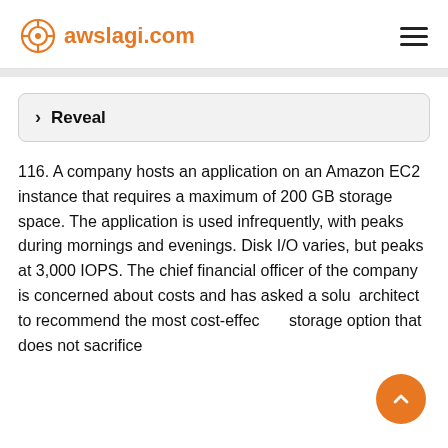awslagi.com
> Reveal
116. A company hosts an application on an Amazon EC2 instance that requires a maximum of 200 GB storage space. The application is used infrequently, with peaks during mornings and evenings. Disk I/O varies, but peaks at 3,000 IOPS. The chief financial officer of the company is concerned about costs and has asked a solutions architect to recommend the most cost-effective storage option that does not sacrifice